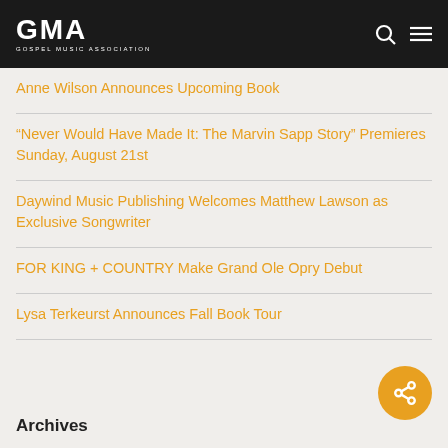GMA GOSPEL MUSIC ASSOCIATION
Anne Wilson Announces Upcoming Book
“Never Would Have Made It: The Marvin Sapp Story” Premieres Sunday, August 21st
Daywind Music Publishing Welcomes Matthew Lawson as Exclusive Songwriter
FOR KING + COUNTRY Make Grand Ole Opry Debut
Lysa Terkeurst Announces Fall Book Tour
Archives